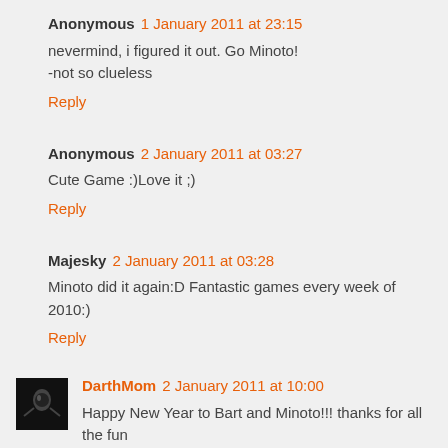Anonymous 1 January 2011 at 23:15
nevermind, i figured it out. Go Minoto!
-not so clueless
Reply
Anonymous 2 January 2011 at 03:27
Cute Game :)Love it ;)
Reply
Majesky 2 January 2011 at 03:28
Minoto did it again:D Fantastic games every week of 2010:)
Reply
DarthMom 2 January 2011 at 10:00
Happy New Year to Bart and Minoto!!! thanks for all the fun in 2010!